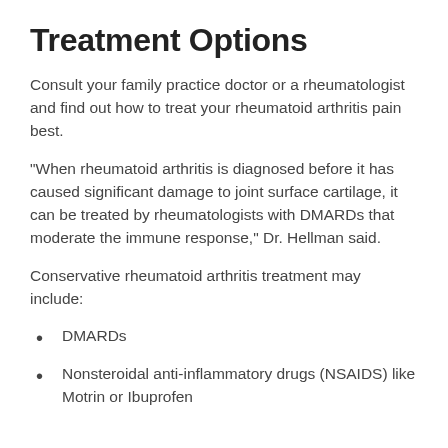Treatment Options
Consult your family practice doctor or a rheumatologist and find out how to treat your rheumatoid arthritis pain best.
“When rheumatoid arthritis is diagnosed before it has caused significant damage to joint surface cartilage, it can be treated by rheumatologists with DMARDs that moderate the immune response,” Dr. Hellman said.
Conservative rheumatoid arthritis treatment may include:
DMARDs
Nonsteroidal anti-inflammatory drugs (NSAIDS) like Motrin or Ibuprofen